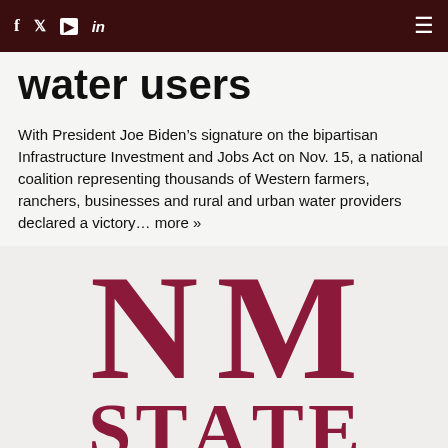f  twitter  youtube  in  [hamburger menu]
water users
With President Joe Biden’s signature on the bipartisan Infrastructure Investment and Jobs Act on Nov. 15, a national coalition representing thousands of Western farmers, ranchers, businesses and rural and urban water providers declared a victory… more »
[Figure (logo): NM State university logo showing large letters N M on top row and S T A T E partially visible on bottom row, rendered in dark crimson/maroon color on light background]